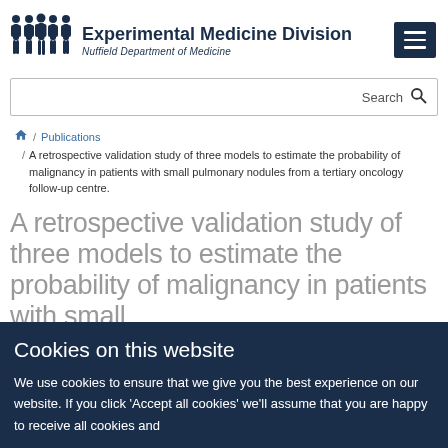Experimental Medicine Division — Nuffield Department of Medicine
Search
🏠 / Publications / A retrospective validation study of three models to estimate the probability of malignancy in patients with small pulmonary nodules from a tertiary oncology follow-up centre.
A retrospective validation study of three models to estimate the probability of malignancy in patients with small
Cookies on this website
We use cookies to ensure that we give you the best experience on our website. If you click 'Accept all cookies' we'll assume that you are happy to receive all cookies and